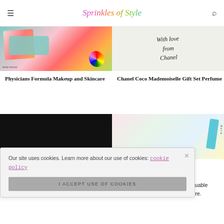Sprinkles of Style
[Figure (photo): Physicians Formula makeup palette and nail file with tropical design]
[Figure (photo): Chanel Coco Mademoiselle calligraphy gift note reading 'With love from Chanel']
Physicians Formula Makeup and Skincare
Chanel Coco Mademoiselle Gift Set Perfume
[Figure (photo): Dark/black background product photo]
[Figure (photo): Skincare product in light blue packaging with colorful background]
Our site uses cookies. Learn more about our use of cookies: cookie policy
I ACCEPT USE OF COOKIES
cess to valuable cookies here.